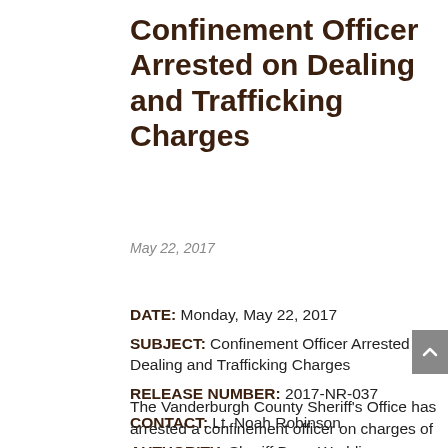Confinement Officer Arrested on Dealing and Trafficking Charges
May 22, 2017
DATE: Monday, May 22, 2017
SUBJECT: Confinement Officer Arrested on Dealing and Trafficking Charges
RELEASE NUMBER: 2017-NR-037
CONTACT: Lt. Noah Robinson
AUTHORITY: Sheriff Dave Wedding
The Vanderburgh County Sheriff's Office has arrested a confinement officer on charges of